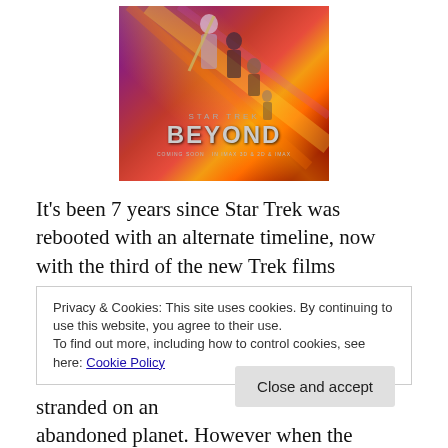[Figure (illustration): Star Trek Beyond movie poster showing characters with diagonal streaks of orange, red, and purple light. Text reads STAR TREK BEYOND with subtitle text at bottom.]
It's been 7 years since Star Trek was rebooted with an alternate timeline, now with the third of the new Trek films
Privacy & Cookies: This site uses cookies. By continuing to use this website, you agree to their use.
To find out more, including how to control cookies, see here: Cookie Policy
Close and accept
stranded on an abandoned planet. However when the